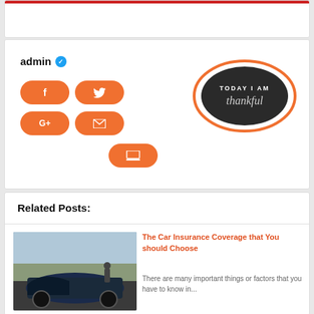[Figure (screenshot): Top card with red stripe, partial white card visible at top of page]
[Figure (screenshot): Author card with admin username, blue verified badge, orange social share buttons (Facebook, Twitter, Google+, Email, Website), and oval image with text TODAY I AM thankful on dark background with orange border]
Related Posts:
[Figure (photo): Photo of a heavily damaged/wrecked dark blue car on a road]
The Car Insurance Coverage that You should Choose
There are many important things or factors that you have to know in...